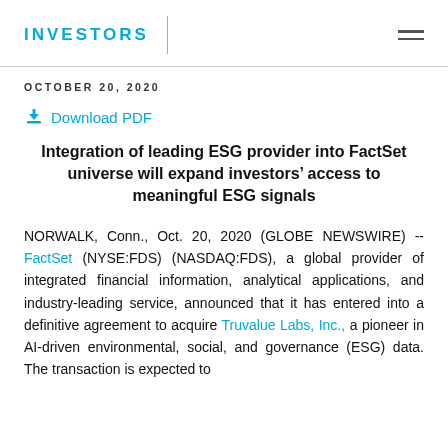INVESTORS
OCTOBER 20, 2020
Download PDF
Integration of leading ESG provider into FactSet universe will expand investors' access to meaningful ESG signals
NORWALK, Conn., Oct. 20, 2020 (GLOBE NEWSWIRE) -- FactSet (NYSE:FDS) (NASDAQ:FDS), a global provider of integrated financial information, analytical applications, and industry-leading service, announced that it has entered into a definitive agreement to acquire Truvalue Labs, Inc., a pioneer in AI-driven environmental, social, and governance (ESG) data. The transaction is expected to